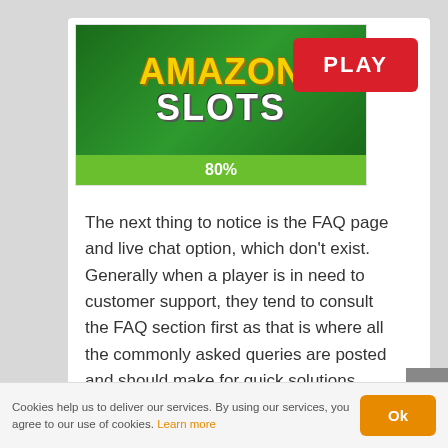[Figure (logo): Amazon Slots logo with green background and 80% rating bar]
[Figure (other): Red PLAY button in top right]
The next thing to notice is the FAQ page and live chat option, which don't exist. Generally when a player is in need to customer support, they tend to consult the FAQ section first as that is where all the commonly asked queries are posted and should make for quick solutions. Failing to find a solution there players will then try to contact support, the most popular method being live chat as that takes minimal effort and should result on quick resolutions.

On the positive side though they do offer some support methods that are not typically included. When viewing their support page a button is
Cookies help us to deliver our services. By using our services, you agree to our use of cookies. Learn more